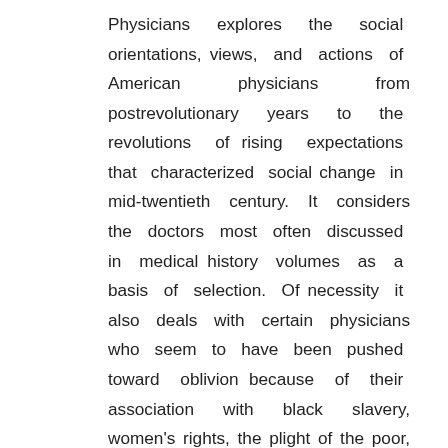Physicians explores the social orientations, views, and actions of American physicians from postrevolutionary years to the revolutions of rising expectations that characterized social change in mid-twentieth century. It considers the doctors most often discussed in medical history volumes as a basis of selection. Of necessity it also deals with certain physicians who seem to have been pushed toward oblivion because of their association with black slavery, women's rights, the plight of the poor, pacifism, and other reform movements. Presented here is a documentation of these basic themes. This book examines the doctors most often chosen as examples who have been discussed in medical histories and the volumes of The Dictionary of American Biography and The